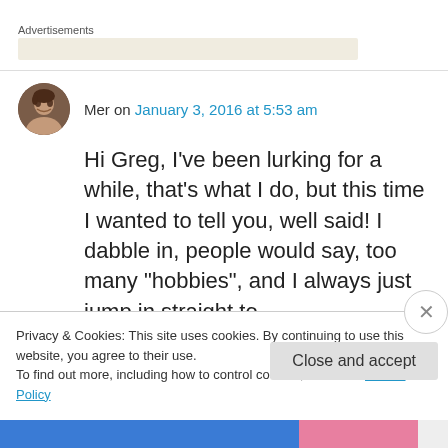Advertisements
Mer on January 3, 2016 at 5:53 am
Hi Greg, I've been lurking for a while, that's what I do, but this time I wanted to tell you, well said! I dabble in, people would say, too many "hobbies", and I always just jump in straight to
Privacy & Cookies: This site uses cookies. By continuing to use this website, you agree to their use.
To find out more, including how to control cookies, see here: Cookie Policy
Close and accept